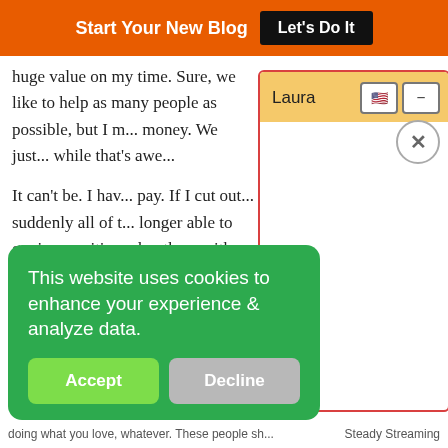Start Your New Blog  Let's Do It
huge value on my time. Sure, we like to help as many people as possible, but I m... money. We just... while that's awe...
It can't be. I hav... pay. If I cut out... suddenly all of t... longer able to g... in a position wh... there with them... a hint of guilt o... my products del...
[Figure (screenshot): Laura chat popup with orange/yellow header, US flag icon, minus icon, and X close button on white background with red border]
[Figure (screenshot): Green cookie consent banner with text 'This website uses cookies to enhance your experience & analyze data.' with Accept (green) and Decline (gray) buttons]
doing what you love, whatever. These people sh... Steady Streaming